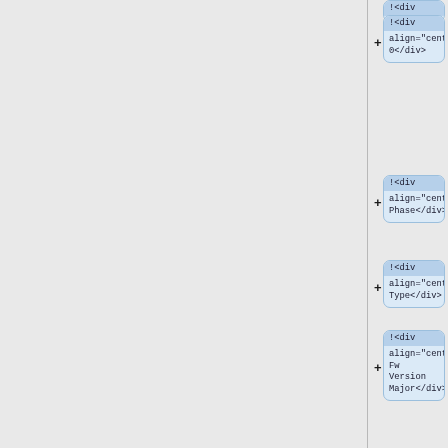[Figure (flowchart): Vertical list of node cards, each showing HTML-like code snippets with !<div align="center"> tags containing labels: 0, Phase, Type, Fw Version Major, Fw Version Minor, and a partially visible card with !<div. Each card has a plus (+) button on its left side. The layout shows a UI tree/list editor interface.]